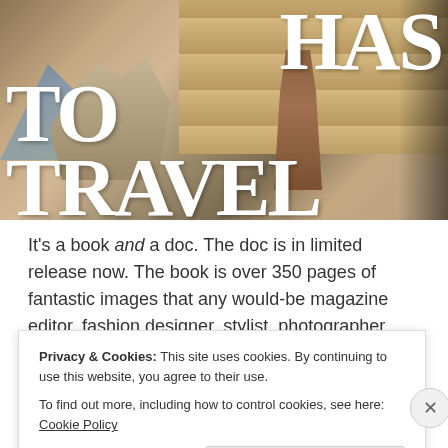[Figure (photo): A fashion/travel photo with a woman standing near a rock structure in a desert landscape with wooden planks/building behind her. Large bold white text overlaid reading 'HAS TO TRAVEL'.]
It's a book and a doc. The doc is in limited release now. The book is over 350 pages of fantastic images that any would-be magazine editor, fashion designer, stylist, photographer,
Privacy & Cookies: This site uses cookies. By continuing to use this website, you agree to their use.
To find out more, including how to control cookies, see here: Cookie Policy
Close and accept